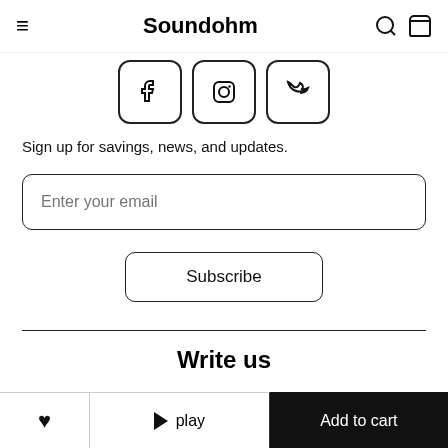Soundohm
[Figure (illustration): Social media icon buttons for Facebook, Instagram, and Twitter/refresh, each in a rounded rectangle border]
Sign up for savings, news, and updates.
Enter your email
Subscribe
Write us
Do you have any special request? Send us a message below
♥   ▶ play   Add to cart